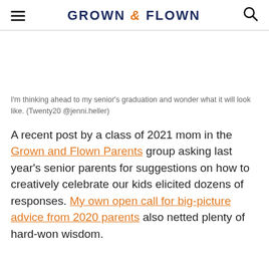GROWN & FLOWN
I'm thinking ahead to my senior's graduation and wonder what it will look like. (Twenty20 @jenni.heller)
A recent post by a class of 2021 mom in the Grown and Flown Parents group asking last year's senior parents for suggestions on how to creatively celebrate our kids elicited dozens of responses. My own open call for big-picture advice from 2020 parents also netted plenty of hard-won wisdom.